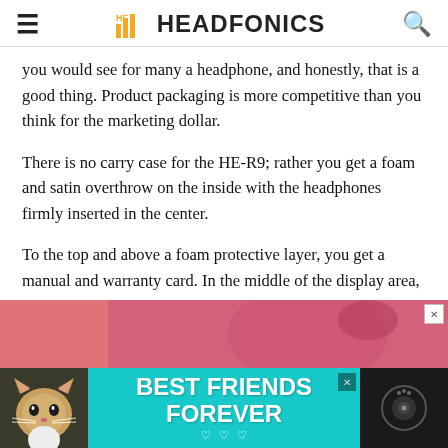HEADFONICS
you would see for many a headphone, and honestly, that is a good thing. Product packaging is more competitive than you think for the marketing dollar.
There is no carry case for the HE-R9; rather you get a foam and satin overthrow on the inside with the headphones firmly inserted in the center.
To the top and above a foam protective layer, you get a manual and warranty card. In the middle of the display area, you get the stock cable tucked tightly into a small crevice with the adaptor firmly attached.
[Figure (photo): Advertisement banner showing a cat with text BEST FRIENDS FOREVER on teal background, with a dark panel on the right showing a Bluetooth speaker icon. Above it is a pink advertisement strip.]